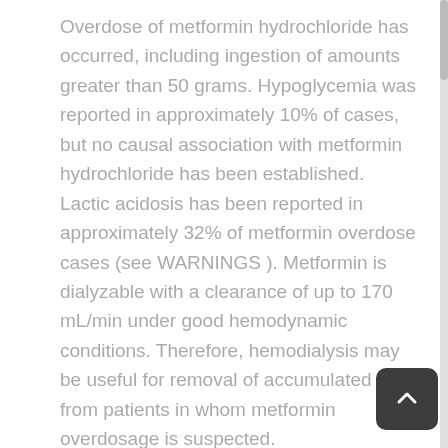Overdose of metformin hydrochloride has occurred, including ingestion of amounts greater than 50 grams. Hypoglycemia was reported in approximately 10% of cases, but no causal association with metformin hydrochloride has been established. Lactic acidosis has been reported in approximately 32% of metformin overdose cases (see WARNINGS ). Metformin is dialyzable with a clearance of up to 170 mL/min under good hemodynamic conditions. Therefore, hemodialysis may be useful for removal of accumulated drug from patients in whom metformin overdosage is suspected.
DOSAGE & ADMINISTRATION